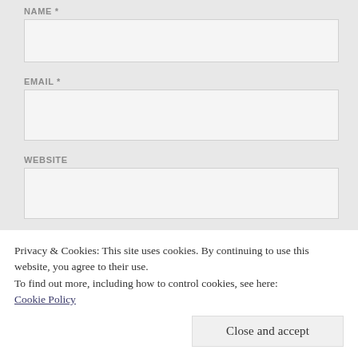NAME *
EMAIL *
WEBSITE
Privacy & Cookies: This site uses cookies. By continuing to use this website, you agree to their use.
To find out more, including how to control cookies, see here: Cookie Policy
Close and accept